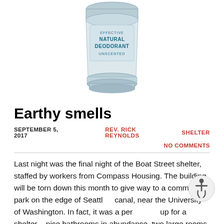[Figure (photo): A clear/translucent cylindrical natural deodorant stick with blue text reading 'EFFECTIVE NATURAL DEODORANT UNSCENTED']
Earthy smells
SEPTEMBER 5, 2017   REV. RICK REYNOLDS   SHELTER
NO COMMENTS
Last night was the final night of the Boat Street shelter, staffed by workers from Compass Housing. The building will be torn down this month to give way to a community park on the edge of Seattle’s canal, near the University of Washington. In fact, it was a perfect set-up for a shelter – nice bathrooms in abundance, two large rooms